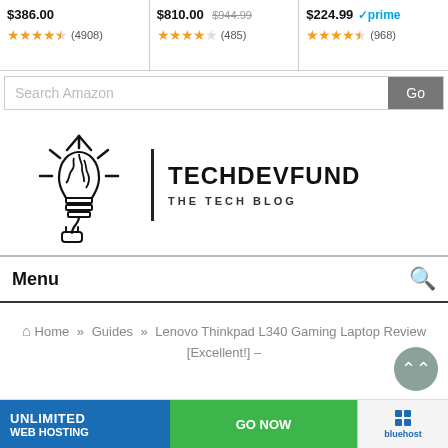[Figure (screenshot): Amazon product listing strip showing three items: $386.00 with 4.5 stars (4908 reviews), $810.00 sale from $944.99 with 4 stars (485 reviews), $224.99 Prime with 4.5 stars (968 reviews)]
[Figure (screenshot): Search Amazon input box with Go button]
[Figure (logo): TechDevFund - The Tech Blog logo with brain-lightbulb icon]
Menu
Home » Guides » Lenovo Thinkpad L340 Gaming Laptop Review [Excellent!] –
[Figure (screenshot): Bottom banner for web hosting: UNLIMITED WEB HOSTING / GO NOW button / Bluehost logo]